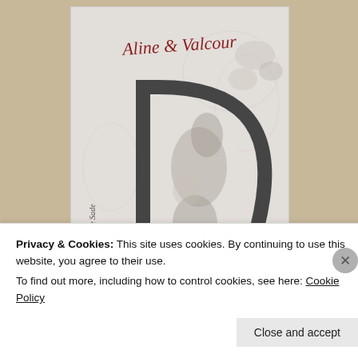[Figure (illustration): Book cover of 'Aline et Valcour' by the Marquis de Sade. The cover features a decorative script title 'Aline et Valcour' at the top in dark red cursive, a large ornate letter 'D' in the center composed of fantastical figures, 'Sade' written in red cursive at the bottom. Black and white etching style illustration.]
Image source: GoodReads
Privacy & Cookies: This site uses cookies. By continuing to use this website, you agree to their use.
To find out more, including how to control cookies, see here: Cookie Policy